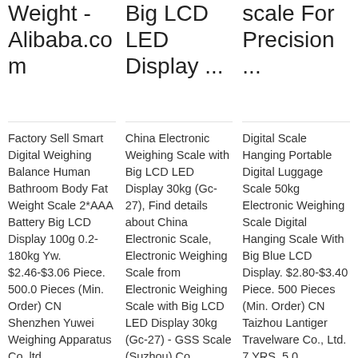Weight - Alibaba.com
Big LCD LED Display ...
scale For Precision ...
Factory Sell Smart Digital Weighing Balance Human Bathroom Body Fat Weight Scale 2*AAA Battery Big LCD Display 100g 0.2-180kg Yw. $2.46-$3.06 Piece. 500.0 Pieces (Min. Order) CN Shenzhen Yuwei Weighing Apparatus Co.,ltd.
China Electronic Weighing Scale with Big LCD LED Display 30kg (Gc-27), Find details about China Electronic Scale, Electronic Weighing Scale from Electronic Weighing Scale with Big LCD LED Display 30kg (Gc-27) - GSS Scale (Suzhou) Co.,
Digital Scale Hanging Portable Digital Luggage Scale 50kg Electronic Weighing Scale Digital Hanging Scale With Big Blue LCD Display. $2.80-$3.40 Piece. 500 Pieces (Min. Order) CN Taizhou Lantiger Travelware Co., Ltd. 7 YRS. 5.0